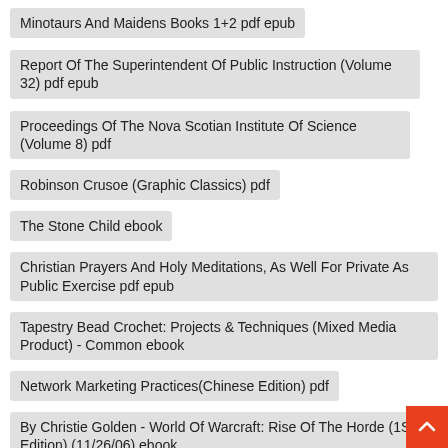Minotaurs And Maidens Books 1+2 pdf epub
Report Of The Superintendent Of Public Instruction (Volume 32) pdf epub
Proceedings Of The Nova Scotian Institute Of Science (Volume 8) pdf
Robinson Crusoe (Graphic Classics) pdf
The Stone Child ebook
Christian Prayers And Holy Meditations, As Well For Private As Public Exercise pdf epub
Tapestry Bead Crochet: Projects & Techniques (Mixed Media Product) - Common ebook
Network Marketing Practices(Chinese Edition) pdf
By Christie Golden - World Of Warcraft: Rise Of The Horde (1St Edition) (11/26/06) ebook